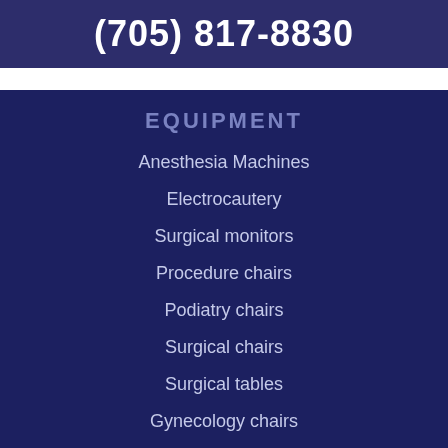(705) 817-8830
EQUIPMENT
Anesthesia Machines
Electrocautery
Surgical monitors
Procedure chairs
Podiatry chairs
Surgical chairs
Surgical tables
Gynecology chairs
Exam Tables
Surgical Lights
Surgical Tables